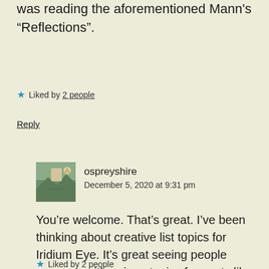was reading the aforementioned Mann's “Reflections”.
★ Liked by 2 people
Reply
ospreyshire
December 5, 2020 at 9:31 pm
You’re welcome. That’s great. I’ve been thinking about creative list topics for Iridium Eye. It’s great seeing people come up with unique topics for posts like these.
★ Liked by 2 people